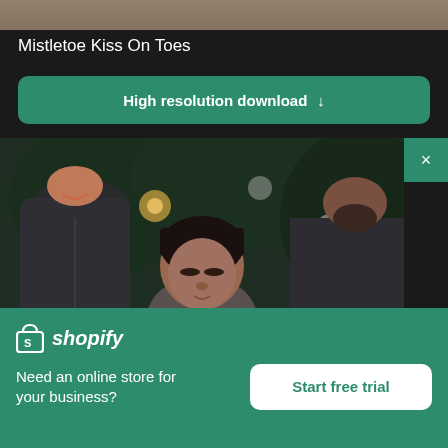[Figure (photo): Partial view of image strip at top showing sandy/stone texture]
Mistletoe Kiss On Toes
[Figure (other): Green rounded button with text 'High resolution download' and down arrow]
[Figure (photo): Family photo near Christmas tree: woman on left smiling, young child with dark hair in center looking down, man with beard on right, with bokeh lights and ornaments in background]
[Figure (logo): Shopify logo: bag icon with S and italic 'shopify' text in white on green background]
Need an online store for your business?
Start free trial